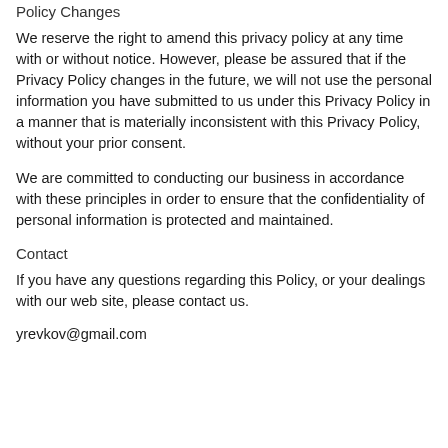Policy Changes
We reserve the right to amend this privacy policy at any time with or without notice. However, please be assured that if the Privacy Policy changes in the future, we will not use the personal information you have submitted to us under this Privacy Policy in a manner that is materially inconsistent with this Privacy Policy, without your prior consent.
We are committed to conducting our business in accordance with these principles in order to ensure that the confidentiality of personal information is protected and maintained.
Contact
If you have any questions regarding this Policy, or your dealings with our web site, please contact us.
yrevkov@gmail.com